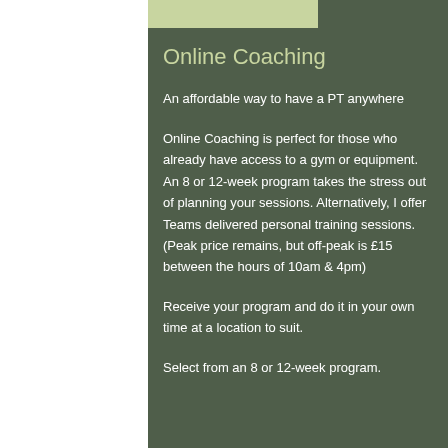Online Coaching
An affordable way to have a PT anywhere
Online Coaching is perfect for those who already have access to a gym or equipment. An 8 or 12-week program takes the stress out of planning your sessions. Alternatively, I offer Teams delivered personal training sessions. (Peak price remains, but off-peak is £15 between the hours of 10am & 4pm)
Receive your program and do it in your own time at a location to suit.
Select from an 8 or 12-week program.